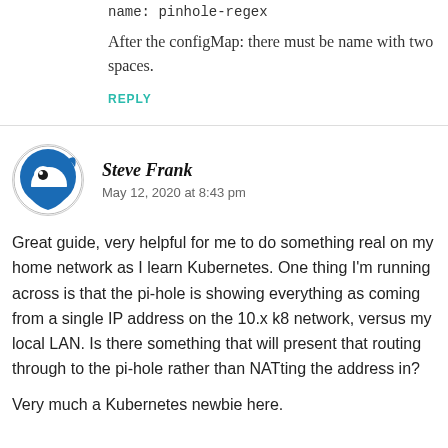name: pinhole-regex
After the configMap: there must be name with two spaces.
REPLY
[Figure (illustration): Circular avatar with blue and white cartoon character (fish/creature) logo]
Steve Frank
May 12, 2020 at 8:43 pm
Great guide, very helpful for me to do something real on my home network as I learn Kubernetes. One thing I'm running across is that the pi-hole is showing everything as coming from a single IP address on the 10.x k8 network, versus my local LAN. Is there something that will present that routing through to the pi-hole rather than NATting the address in?
Very much a Kubernetes newbie here.